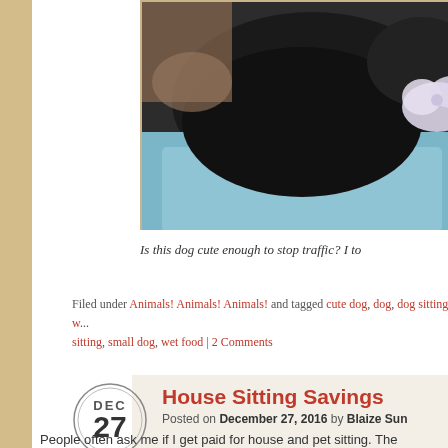[Figure (photo): A black dog lying on a blue towel/blanket, wearing a white bow, photographed from above. The image is partially cropped.]
Is this dog cute enough to stop traffic? I to
Filed under Animals! Animals! Animals! and tagged cute dog, dog, dog sitting, dog w... sitting, small dog, wet food | 2 Comments
House Sitting Savings
Posted on December 27, 2016 by Blaize Sun
People often ask me if I get paid for house and pet sitting. The